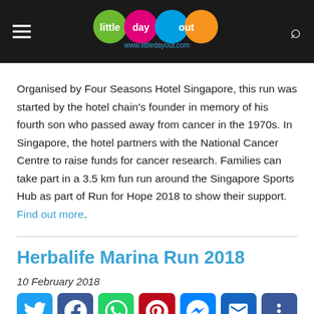little day out — www.littledayout.com
Organised by Four Seasons Hotel Singapore, this run was started by the hotel chain's founder in memory of his fourth son who passed away from cancer in the 1970s. In Singapore, the hotel partners with the National Cancer Centre to raise funds for cancer research. Families can take part in a 3.5 km fun run around the Singapore Sports Hub as part of Run for Hope 2018 to show their support. Find out more.
Herbalife Marina Run 2018
10 February 2018
[Figure (other): Social sharing buttons: Twitter, Facebook, WhatsApp, Pinterest, Messenger, Email, More]
The Herbalife Marina Run f...